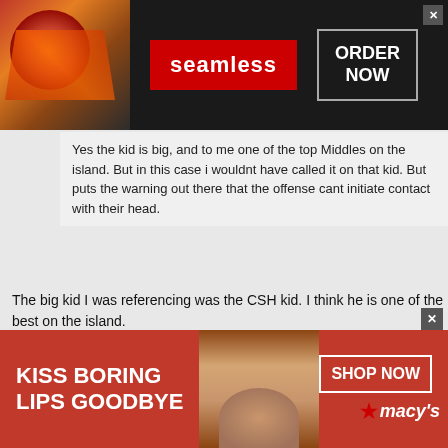[Figure (screenshot): Seamless food delivery advertisement banner with pizza image, red Seamless badge, and ORDER NOW button]
Yes the kid is big, and to me one of the top Middles on the island. But in this case i wouldnt have called it on that kid. But puts the warning out there that the offense cant initiate contact with their head.
The big kid I was referencing was the CSH kid. I think he is one of the best on the island.
Originally Posted by Anonymous
Originally Posted by Anonymous
[Figure (screenshot): Macy's advertisement banner with KISS BORING LIPS GOODBYE text, model face, SHOP NOW button, and Macy's star logo]